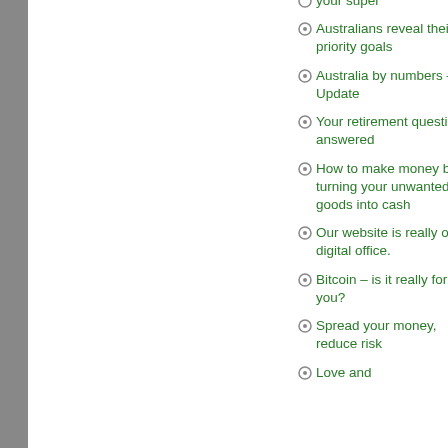your super
Australians reveal their priority goals
Australia by numbers – Update
Your retirement questions answered
How to make money by turning your unwanted goods into cash
Our website is really our digital office.
Bitcoin – is it really for you?
Spread your money, reduce risk
Love and